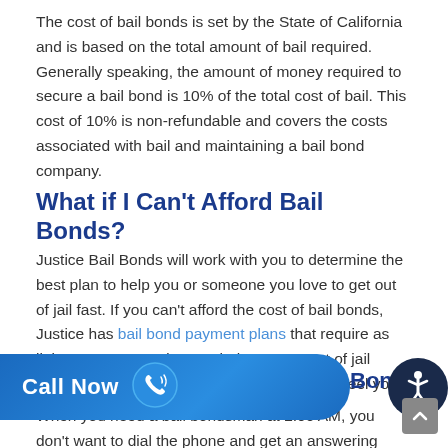The cost of bail bonds is set by the State of California and is based on the total amount of bail required. Generally speaking, the amount of money required to secure a bail bond is 10% of the total cost of bail. This cost of 10% is non-refundable and covers the costs associated with bail and maintaining a bail bond company.
What if I Can't Afford Bail Bonds?
Justice Bail Bonds will work with you to determine the best plan to help you or someone you love to get out of jail fast. If you can't afford the cost of bail bonds, Justice has bail bond payment plans that require as little as no money down to help get you out of jail quickly (OAC). Call Justice Bail Bonds if you feel you can't afford bail. Call (951) 445-4155 today!
[Figure (other): Blue 'Call Now' button with phone icon]
Bonds in Calimesa
When you need a bail bondsman at 2:00 AM, you don't want to dial the phone and get an answering machine. You need help getting